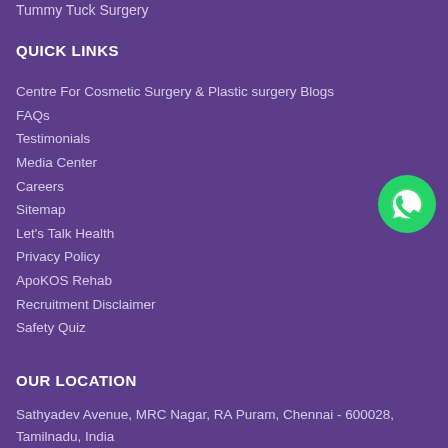Tummy Tuck Surgery
QUICK LINKS
Centre For Cosmetic Surgery & Plastic surgery Blogs
FAQs
Testimonials
Media Center
Careers
Sitemap
Let's Talk Health
Privacy Policy
ApoKOS Rehab
Recruitment Disclaimer
Safety Quiz
[Figure (logo): WhatsApp green circular button with chat bubble icon]
OUR LOCATION
Sathyadev Avenue, MRC Nagar, RA Puram, Chennai - 600028, Tamilnadu, India